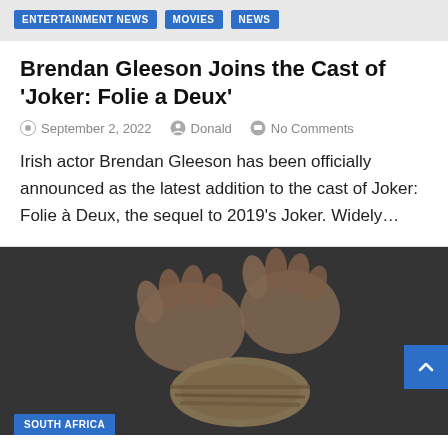ENTERTAINMENT NEWS | MOVIES | NEWS
Brendan Gleeson Joins the Cast of ‘Joker: Folie a Deux’
September 2, 2022   Donald   No Comments
Irish actor Brendan Gleeson has been officially announced as the latest addition to the cast of Joker: Folie à Deux, the sequel to 2019’s Joker. Widely…
[Figure (photo): Black and white photo of two hands bound/tied together with rope against a dark textured background]